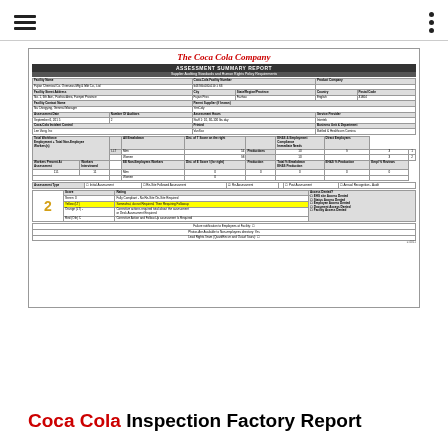☰  •••
[Figure (screenshot): Coca-Cola Company Assessment Summary Report form showing facility details, scoring, workforce data, and rating scale with a yellow-highlighted 'Yellow (LT)' score of 2]
Coca Cola Inspection Factory Report